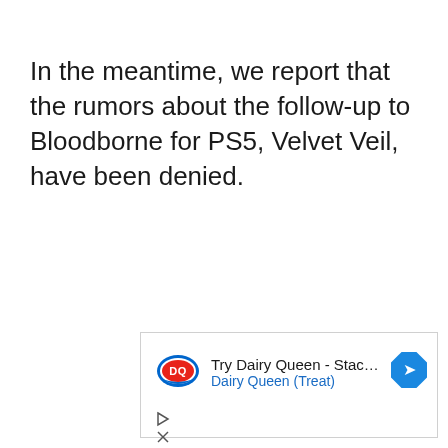In the meantime, we report that the rumors about the follow-up to Bloodborne for PS5, Velvet Veil, have been denied.
[Figure (other): Advertisement banner for Dairy Queen Stackburger. Shows DQ logo (red oval with DQ text), ad text 'Try Dairy Queen - Stackburger:' with 'Dairy Queen (Treat)' in blue below, and a blue diamond arrow icon on the right. Ad controls (play and close icons) below.]